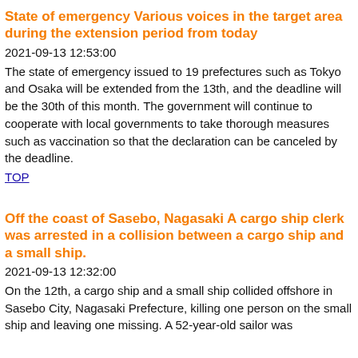State of emergency Various voices in the target area during the extension period from today
2021-09-13 12:53:00
The state of emergency issued to 19 prefectures such as Tokyo and Osaka will be extended from the 13th, and the deadline will be the 30th of this month. The government will continue to cooperate with local governments to take thorough measures such as vaccination so that the declaration can be canceled by the deadline.
TOP
Off the coast of Sasebo, Nagasaki A cargo ship clerk was arrested in a collision between a cargo ship and a small ship.
2021-09-13 12:32:00
On the 12th, a cargo ship and a small ship collided offshore in Sasebo City, Nagasaki Prefecture, killing one person on the small ship and leaving one missing. A 52-year-old sailor was